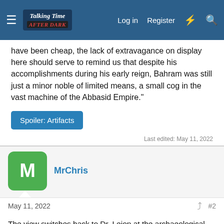Talking Time After Dark — Log in  Register
have been cheap, the lack of extravagance on display here should serve to remind us that despite his accomplishments during his early reign, Bahram was still just a minor noble of limited means, a small cog in the vast machine of the Abbasid Empire."
Spoiler: Artifacts
Last edited: May 11, 2022
MrChris
May 11, 2022  #2
The view switches back to Dr. Lejon at the archaeological dig, with the run-down structure of Uwal Castle framed dramatically against a sunrise in the background. "This is where Jannabid Banu...